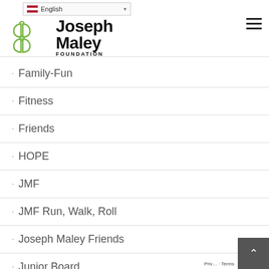[Figure (logo): Joseph Maley Foundation logo with green butterfly/flower icon and bold black text]
Family-Fun
Fitness
Friends
HOPE
JMF
JMF Run, Walk, Roll
Joseph Maley Friends
Junior Board